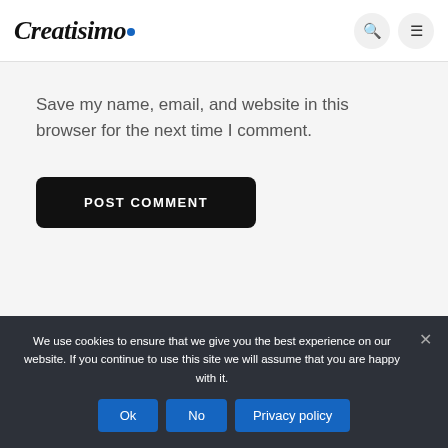Creatisimo.
Save my name, email, and website in this browser for the next time I comment.
POST COMMENT
We use cookies to ensure that we give you the best experience on our website. If you continue to use this site we will assume that you are happy with it.
Ok  No  Privacy policy